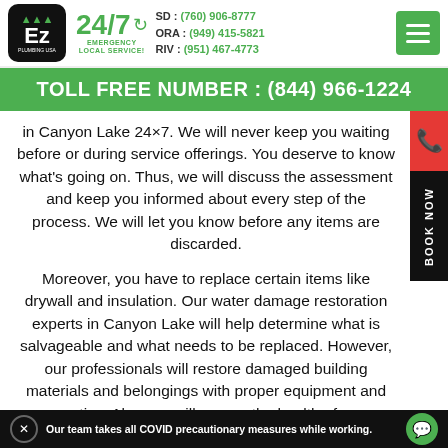EZ Plumbing USA | 24/7 Emergency Local Service | SD: (760) 906-8777 | ORA: (949) 415-5821 | RIV: (951) 467-4773
TOLL FREE NUMBER : (844) 966-1224
in Canyon Lake 24×7. We will never keep you waiting before or during service offerings. You deserve to know what's going on. Thus, we will discuss the assessment and keep you informed about every step of the process. We will let you know before any items are discarded.
Moreover, you have to replace certain items like drywall and insulation. Our water damage restoration experts in Canyon Lake will help determine what is salvageable and what needs to be replaced. However, our professionals will restore damaged building materials and belongings with proper equipment and expertise. Also, we will ensure the health of your plumbing and drainage system to
Our team takes all COVID precautionary measures while working.